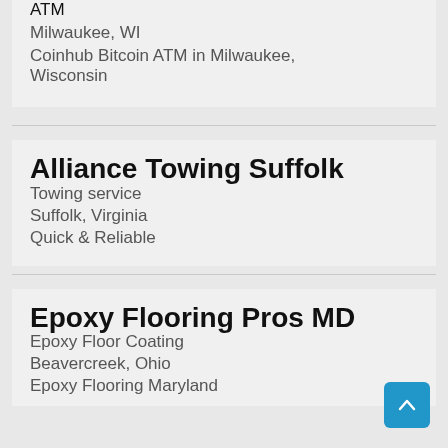ATM
Milwaukee, WI
Coinhub Bitcoin ATM in Milwaukee, Wisconsin
Alliance Towing Suffolk
Towing service
Suffolk, Virginia
Quick & Reliable
Epoxy Flooring Pros MD
Epoxy Floor Coating
Beavercreek, Ohio
Epoxy Flooring Maryland